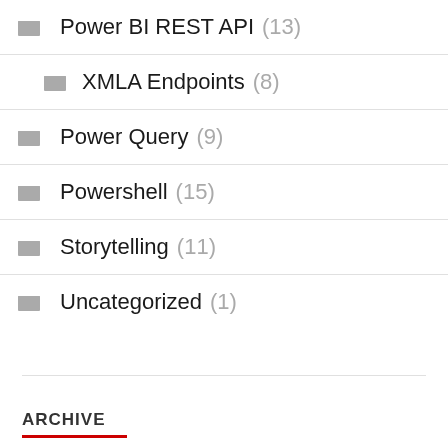Power BI REST API (13)
XMLA Endpoints (8)
Power Query (9)
Powershell (15)
Storytelling (11)
Uncategorized (1)
ARCHIVE